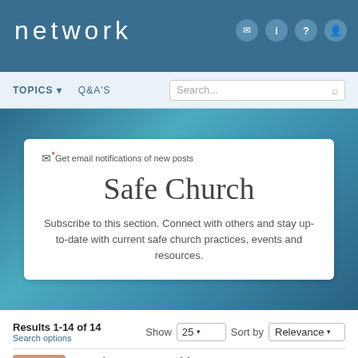network
TOPICS  Q&A'S  Search...
Get email notifications of new posts
Safe Church
Subscribe to this section. Connect with others and stay up-to-date with current safe church practices, events and resources.
Results 1-14 of 14
Search options
Show 25  Sort by Relevance
Brochure or Pamphlet  April 23, 2014